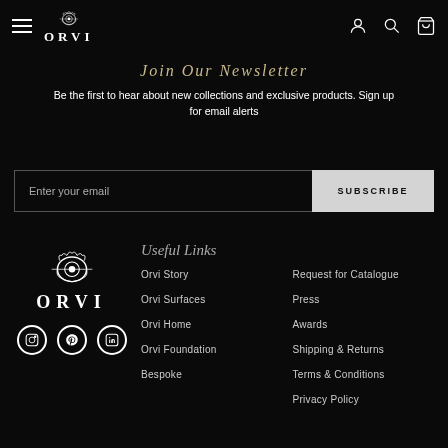ORVI navigation header with hamburger menu, logo, account, search, and cart icons
Join Our Newsletter
Be the first to hear about new collections and exclusive products. Sign up for email alerts
Enter your email | SUBSCRIBE
[Figure (logo): ORVI logo with crown emblem]
Useful Links
Orvi Story
Orvi Surfaces
Orvi Home
Orvi Foundation
Bespoke
Request for Catalogue
Press
Awards
Shipping &amp; Returns
Terms &amp; Conditions
Privacy Policy